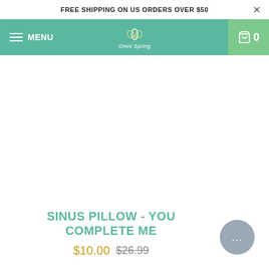FREE SHIPPING ON US ORDERS OVER $50
[Figure (screenshot): Omni Spring logo with leaf/flower design in white, navigation bar with teal background, hamburger menu, and cart icon]
[Figure (photo): Product image area (white/empty area for sinus pillow product photo)]
SINUS PILLOW - YOU COMPLETE ME
$10.00 $26.99